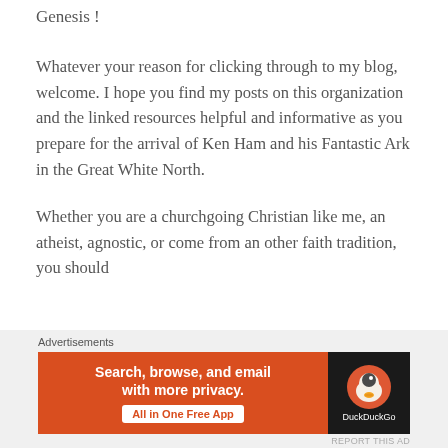Genesis !
Whatever your reason for clicking through to my blog, welcome. I hope you find my posts on this organization and the linked resources helpful and informative as you prepare for the arrival of Ken Ham and his Fantastic Ark in the Great White North.
Whether you are a churchgoing Christian like me, an atheist, agnostic, or come from an other faith tradition, you should
Advertisements
[Figure (screenshot): DuckDuckGo advertisement banner: orange left panel with text 'Search, browse, and email with more privacy.' and 'All in One Free App' button; dark right panel with DuckDuckGo duck logo and 'DuckDuckGo' text.]